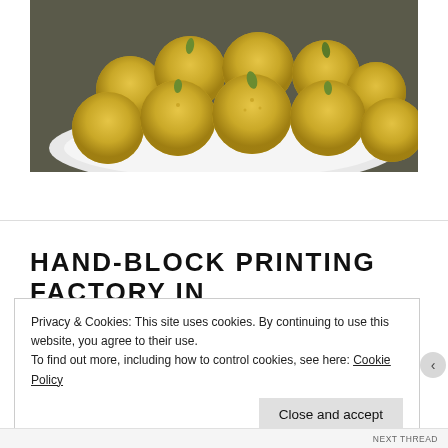[Figure (photo): A plate of round golden-yellow Indian sweets (ladoos/besan laddoos) garnished with green pistachios, arranged on a white plate against a dark background.]
HAND-BLOCK PRINTING FACTORY IN
Privacy & Cookies: This site uses cookies. By continuing to use this website, you agree to their use.
To find out more, including how to control cookies, see here: Cookie Policy
Close and accept
NEXT THREAD